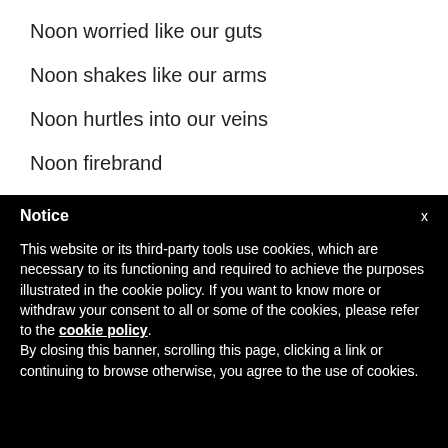Noon worried like our guts
Noon shakes like our arms
Noon hurtles into our veins
Noon firebrand
Notice
This website or its third-party tools use cookies, which are necessary to its functioning and required to achieve the purposes illustrated in the cookie policy. If you want to know more or withdraw your consent to all or some of the cookies, please refer to the cookie policy. By closing this banner, scrolling this page, clicking a link or continuing to browse otherwise, you agree to the use of cookies.